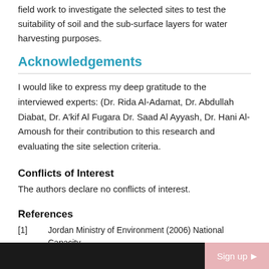field work to investigate the selected sites to test the suitability of soil and the sub-surface layers for water harvesting purposes.
Acknowledgements
I would like to express my deep gratitude to the interviewed experts: (Dr. Rida Al-Adamat, Dr. Abdullah Diabat, Dr. A'kif Al Fugara Dr. Saad Al Ayyash, Dr. Hani Al-Amoush for their contribution to this research and evaluating the site selection criteria.
Conflicts of Interest
The authors declare no conflicts of interest.
References
[1]    Jordan Ministry of Environment (2006) National Capacity
Sign up